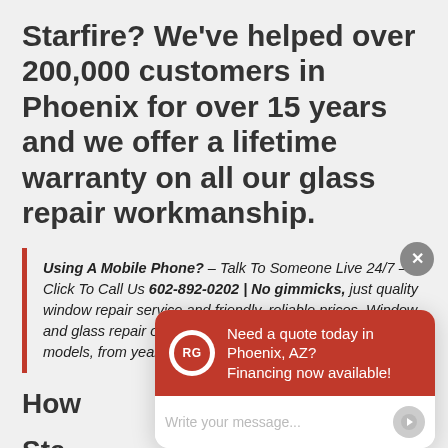Starfire? We've helped over 200,000 customers in Phoenix for over 15 years and we offer a lifetime warranty on all our glass repair workmanship.
Using A Mobile Phone? – Talk To Someone Live 24/7 – Click To Call Us 602-892-0202 | No gimmicks, just quality window repair service and friendly, reliable prices. Window and glass repair or replacement for Oldsmobile Starfire models, from years 1981-2004.
How [much does] Sta[rfire Window] Cos[t?]
[Figure (screenshot): Chat widget overlay with red header showing RG logo and text 'Need a quote today in Phoenix, AZ? Financing now available!' with a message input field below and a close button.]
Between $150 – $330 for a new car...